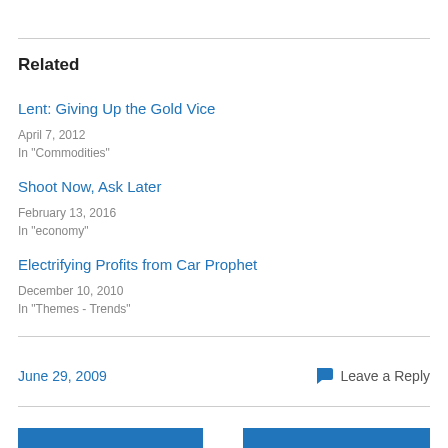Related
Lent: Giving Up the Gold Vice
April 7, 2012
In "Commodities"
Shoot Now, Ask Later
February 13, 2016
In "economy"
Electrifying Profits from Car Prophet
December 10, 2010
In "Themes - Trends"
June 29, 2009
Leave a Reply